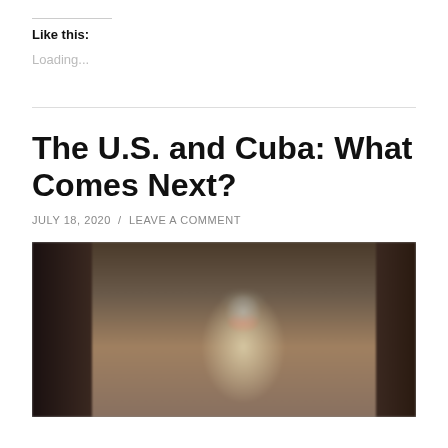Like this:
Loading...
The U.S. and Cuba: What Comes Next?
JULY 18, 2020 / LEAVE A COMMENT
[Figure (photo): An elderly man with white beard wearing a grey flat cap and red sunglasses, photographed in front of a dark doorway, likely in Cuba.]